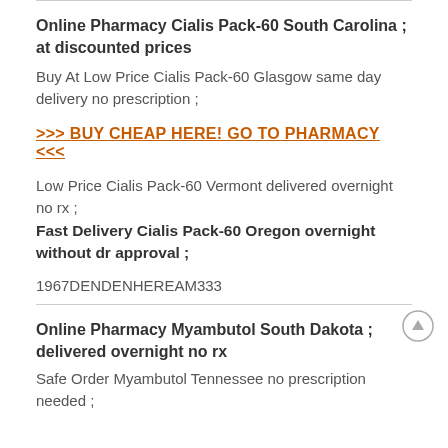Online Pharmacy Cialis Pack-60 South Carolina ; at discounted prices
Buy At Low Price Cialis Pack-60 Glasgow same day delivery no prescription ;
>>> BUY CHEAP HERE! GO TO PHARMACY <<<
Low Price Cialis Pack-60 Vermont delivered overnight no rx ;
Fast Delivery Cialis Pack-60 Oregon overnight without dr approval ;
1967DENDENHEREAM333
Online Pharmacy Myambutol South Dakota ; delivered overnight no rx
Safe Order Myambutol Tennessee no prescription needed ;